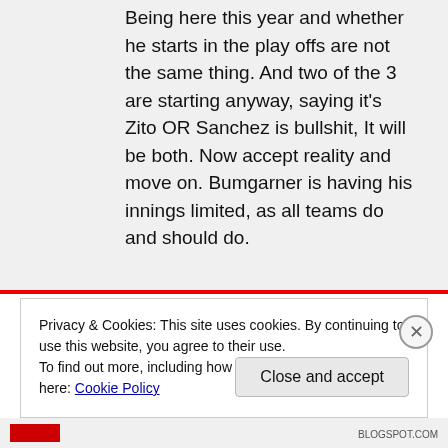Being here this year and whether he starts in the play offs are not the same thing. And two of the 3 are starting anyway, saying it's Zito OR Sanchez is bullshit, It will be both. Now accept reality and move on. Bumgarner is having his innings limited, as all teams do and should do.
Privacy & Cookies: This site uses cookies. By continuing to use this website, you agree to their use. To find out more, including how to control cookies, see here: Cookie Policy
Close and accept